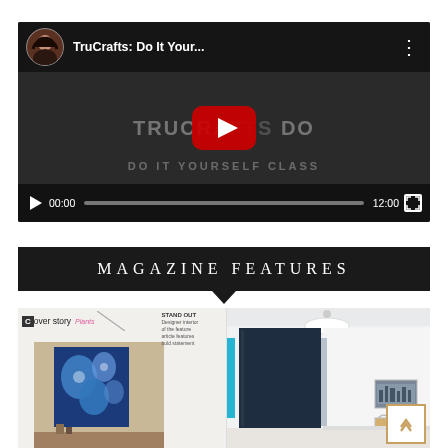[Figure (screenshot): YouTube video player showing 'TruCrafts: Do It Your...' video with profile avatar, title, three-dot menu, video content background with YouTube play button, progress bar showing 00:00 / 12:00, and fullscreen button]
MAGAZINE FEATURES
[Figure (photo): Two magazine feature images side by side. Left shows a 'cover story / Plants' magazine spread with interior photo featuring blue decorative wall art. Right shows a modern interior with dark navy panel, white walls, pendant light, and small cityscape image.]